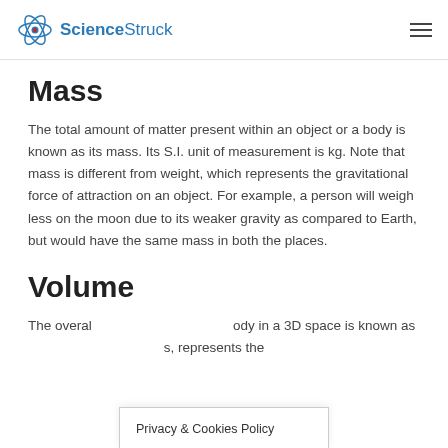ScienceStruck
Mass
The total amount of matter present within an object or a body is known as its mass. Its S.I. unit of measurement is kg. Note that mass is different from weight, which represents the gravitational force of attraction on an object. For example, a person will weigh less on the moon due to its weaker gravity as compared to Earth, but would have the same mass in both the places.
Volume
The overall space occupied by a body in a 3D space is known as its volume. Its S.I. unit represents the